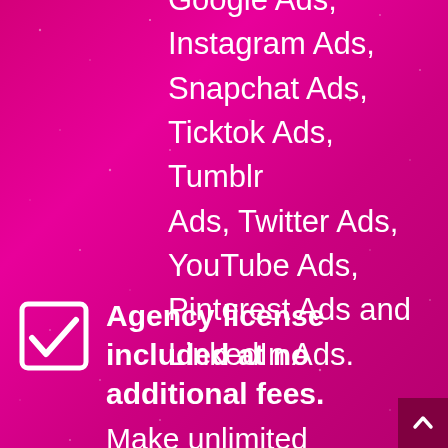Google Ads, Instagram Ads, Snapchat Ads, Ticktok Ads, Tumblr Ads, Twitter Ads, YouTube Ads, Pinterest Ads and LinkedIn Ads.
Agency license included at no additional fees. Make unlimited